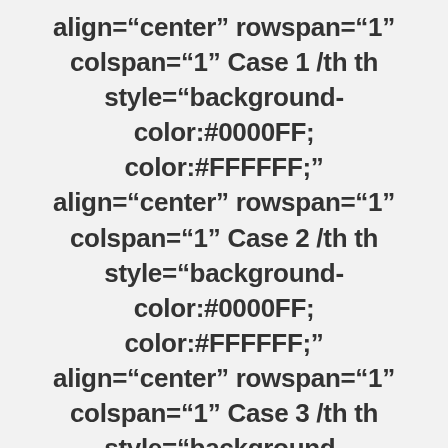align="center" rowspan="1" colspan="1" Case 1 /th th style="background-color:#0000FF; color:#FFFFFF;" align="center" rowspan="1" colspan="1" Case 2 /th th style="background-color:#0000FF; color:#FFFFFF;" align="center" rowspan="1" colspan="1" Case 3 /th th style="background-color:#0000FF; color:#FFFFFF;"